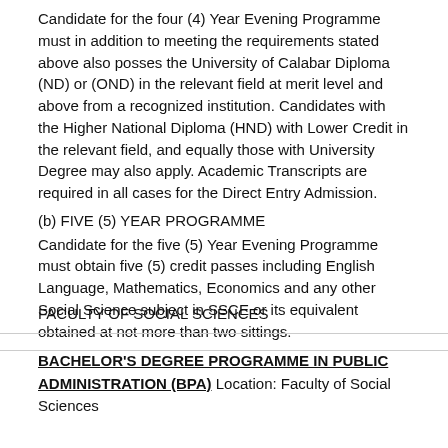Candidate for the four (4) Year Evening Programme must in addition to meeting the requirements stated above also posses the University of Calabar Diploma (ND) or (OND) in the relevant field at merit level and above from a recognized institution. Candidates with the Higher National Diploma (HND) with Lower Credit in the relevant field, and equally those with University Degree may also apply. Academic Transcripts are required in all cases for the Direct Entry Admission.
(b) FIVE (5) YEAR PROGRAMME
Candidate for the five (5) Year Evening Programme must obtain five (5) credit passes including English Language, Mathematics, Economics and any other Social Science subject in SSCE or its equivalent obtained at not more than two sittings.
FACULTY OF SOCIAL SCIENCES
BACHELOR'S DEGREE PROGRAMME IN PUBLIC ADMINISTRATION (BPA) Location: Faculty of Social Sciences